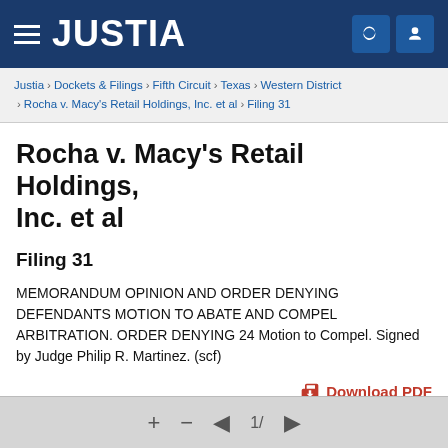JUSTIA
Justia › Dockets & Filings › Fifth Circuit › Texas › Western District › Rocha v. Macy's Retail Holdings, Inc. et al › Filing 31
Rocha v. Macy's Retail Holdings, Inc. et al
Filing 31
MEMORANDUM OPINION AND ORDER DENYING DEFENDANTS MOTION TO ABATE AND COMPEL ARBITRATION. ORDER DENYING 24 Motion to Compel. Signed by Judge Philip R. Martinez. (scf)
Download PDF